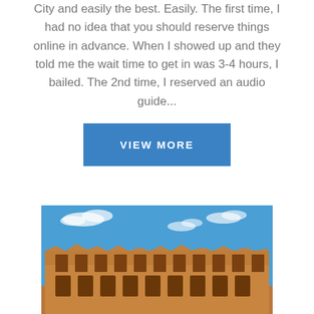City and easily the best. Easily. The first time, I had no idea that you should reserve things online in advance. When I showed up and they told me the wait time to get in was 3-4 hours, I bailed. The 2nd time, I reserved an audio guide...
[Figure (other): A blue rectangular button with white uppercase text reading VIEW MORE]
[Figure (photo): Photograph of the Colosseum in Rome with blue sky and clouds in the background, showing the ancient stone arched exterior walls.]